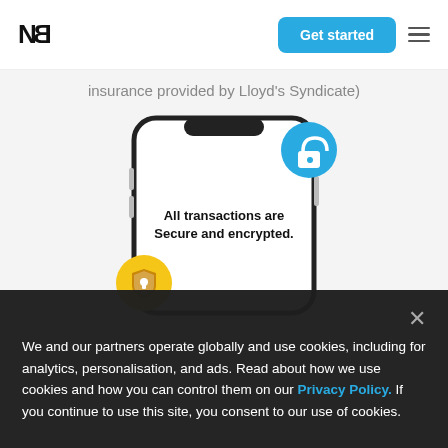NB
insurance provided by Lloyd's Syndicate)
[Figure (illustration): Phone mockup showing 'All transactions are Secure and encrypted.' with a blue lock icon circle at top-right and a yellow shield icon at bottom-left]
We and our partners operate globally and use cookies, including for analytics, personalisation, and ads. Read about how we use cookies and how you can control them on our Privacy Policy. If you continue to use this site, you consent to our use of cookies.